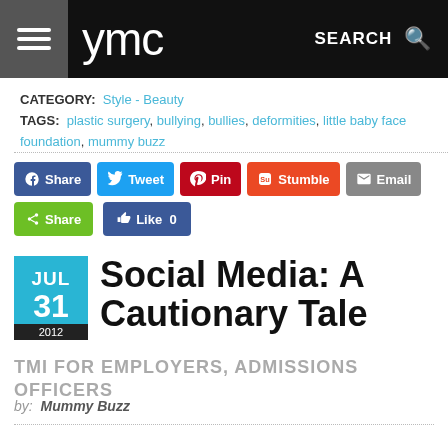ymc | SEARCH
CATEGORY: Style - Beauty
TAGS: plastic surgery, bullying, bullies, deformities, little baby face foundation, mummy buzz
[Figure (screenshot): Social share buttons: Share (Facebook), Tweet (Twitter), Pin (Pinterest), Stumble (StumbleUpon), Email; green Share button; blue Like 0 button]
Social Media: A Cautionary Tale
TMI FOR EMPLOYERS, ADMISSIONS OFFICERS
by: Mummy Buzz